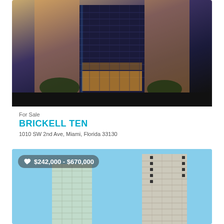[Figure (photo): Modern high-rise building at dusk with blue and orange lighting, dark sky background]
For Sale
BRICKELL TEN
1010 SW 2nd Ave, Miami, Florida 33130
| Beds | Baths | sqft |
| --- | --- | --- |
| 1 - 3 | 1 | 648 - 1,669 |
[Figure (photo): Two tall residential condominium towers against blue sky, price overlay $242,000 - $670,000]